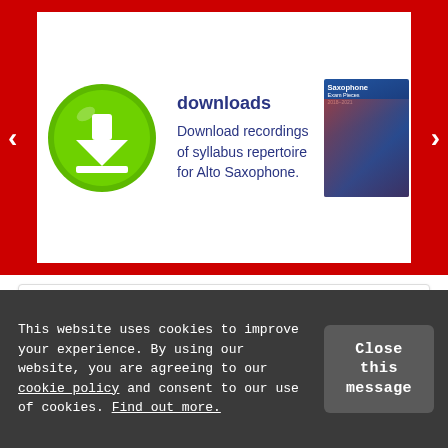[Figure (screenshot): Carousel banner with red background showing a green download icon on the left, text 'downloads' with 'Download recordings of syllabus repertoire for Alto Saxophone.' in the center, and a saxophone exam book cover on the right with navigation arrows.]
What's in the exam?
Pieces
Scales and arpeggios
This website uses cookies to improve your experience. By using our website, you are agreeing to our cookie policy and consent to our use of cookies. Find out more.
Close this message